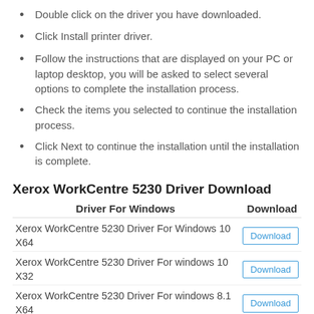Double click on the driver you have downloaded.
Click Install printer driver.
Follow the instructions that are displayed on your PC or laptop desktop, you will be asked to select several options to complete the installation process.
Check the items you selected to continue the installation process.
Click Next to continue the installation until the installation is complete.
Xerox WorkCentre 5230 Driver Download
| Driver For Windows | Download |
| --- | --- |
| Xerox WorkCentre 5230 Driver For Windows 10 X64 | Download |
| Xerox WorkCentre 5230 Driver For windows 10 X32 | Download |
| Xerox WorkCentre 5230 Driver For windows 8.1 X64 | Download |